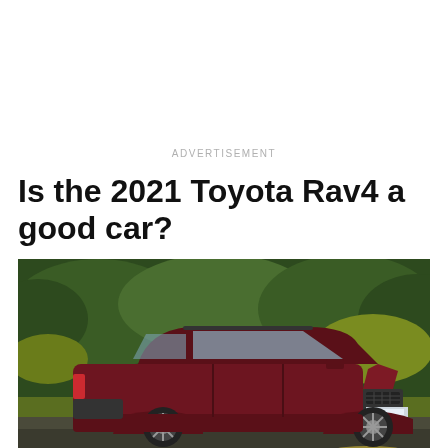ADVERTISEMENT
Is the 2021 Toyota Rav4 a good car?
[Figure (photo): A dark red/maroon 2021 Toyota RAV4 SUV parked on a wet road, photographed from the front-left side angle. Dense green foliage and yellow-green bushes fill the background. The car has black roof rails, silver five-spoke wheels, and a prominent front grille.]